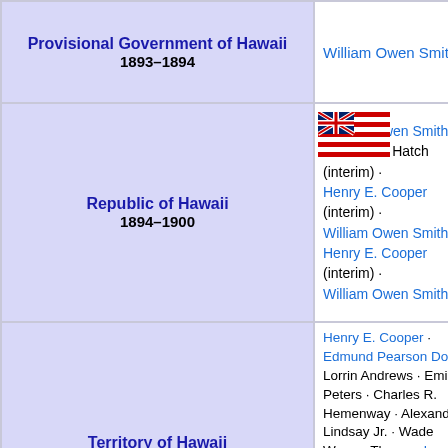| Government | Attorney General |
| --- | --- |
| Provisional Government of Hawaii
1893–1894 | William Owen Smith |
| Republic of Hawaii
1894–1900 | William Owen Smith · Francis M. Hatch (interim) · Henry E. Cooper (interim) · William Owen Smith · Henry E. Cooper (interim) · William Owen Smith |
| Territory of Hawaii
1898–1959 | Henry E. Cooper · Edmund Pearson Dole · Lorrin Andrews · Emil C. Peters · Charles R. Hemenway · Alexander Lindsay Jr. · Wade Warren Thayer · Ingram Stainback · Arthur G. Smith · Harry Irwin · John A. Matthewman · William B. Lymer · Harry P. Hewitt · William B. Pittman · S. B. |